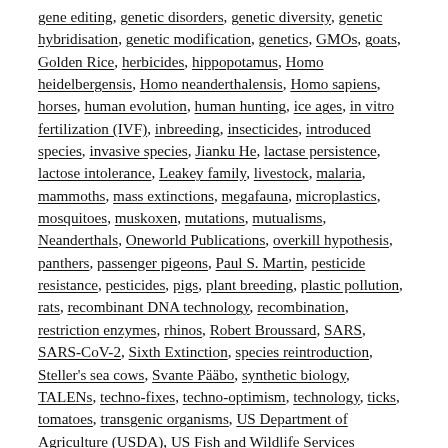gene editing, genetic disorders, genetic diversity, genetic hybridisation, genetic modification, genetics, GMOs, goats, Golden Rice, herbicides, hippopotamus, Homo heidelbergensis, Homo neanderthalensis, Homo sapiens, horses, human evolution, human hunting, ice ages, in vitro fertilization (IVF), inbreeding, insecticides, introduced species, invasive species, Jianku He, lactase persistence, lactose intolerance, Leakey family, livestock, malaria, mammoths, mass extinctions, megafauna, microplastics, mosquitoes, muskoxen, mutations, mutualisms, Neanderthals, Oneworld Publications, overkill hypothesis, panthers, passenger pigeons, Paul S. Martin, pesticide resistance, pesticides, pigs, plant breeding, plastic pollution, rats, recombinant DNA technology, recombination, restriction enzymes, rhinos, Robert Broussard, SARS, SARS-CoV-2, Sixth Extinction, species reintroduction, Steller's sea cows, Svante Pääbo, synthetic biology, TALENs, techno-fixes, techno-optimism, technology, ticks, tomatoes, transgenic organisms, US Department of Agriculture (USDA), US Fish and Wildlife Services (USFWS), US Food